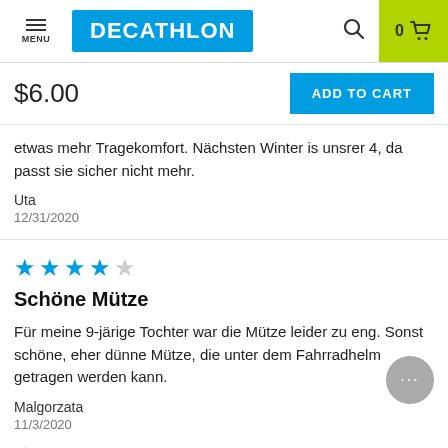[Figure (screenshot): Decathlon website header with menu icon, Decathlon logo in blue, search icon, and cart icon (0 items) on lime green background]
$6.00
ADD TO CART
etwas mehr Tragekomfort. Nächsten Winter is unsrer 4, da passt sie sicher nicht mehr.
Uta
12/31/2020
[Figure (other): 4 out of 5 stars rating]
Schöne Mütze
Für meine 9-jäige Tochter war die Mütze leider zu eng. Sonst schöne, eher dünne Mütze, die unter dem Fahrradhelm getragen werden kann.
Malgorzata
11/3/2020